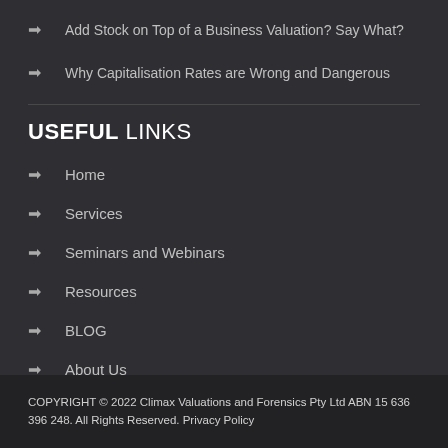Add Stock on Top of a Business Valuation? Say What?
Why Capitalisation Rates are Wrong and Dangerous
USEFUL LINKS
Home
Services
Seminars and Webinars
Resources
BLOG
About Us
Contact Us
COPYRIGHT © 2022 Climax Valuations and Forensics Pty Ltd ABN 15 636 396 248. All Rights Reserved. Privacy Policy